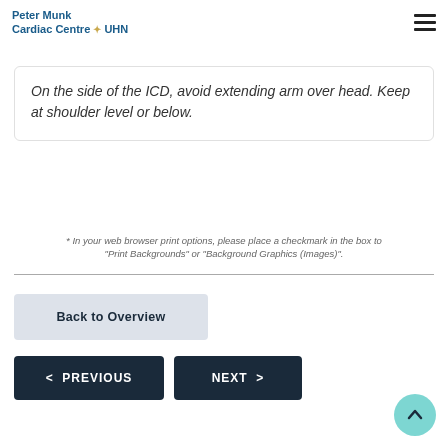Peter Munk Cardiac Centre UHN
Key Questions for Patients with an ICD
On the side of the ICD, avoid extending arm over head. Keep at shoulder level or below.
* In your web browser print options, please place a checkmark in the box to "Print Backgrounds" or "Background Graphics (Images)".
Back to Overview
< PREVIOUS
NEXT >